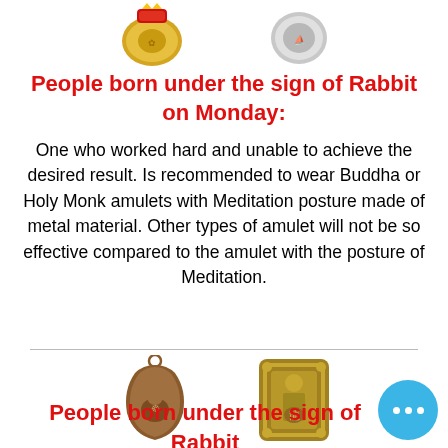[Figure (photo): Two amulet coins/medallions at the top — left one gold-colored with red/yellow design, right one silver-colored with embossed figure]
People born under the sign of Rabbit on Monday:
One who worked hard and unable to achieve the desired result. Is recommended to wear Buddha or Holy Monk amulets with Meditation posture made of metal material. Other types of amulet will not be so effective compared to the amulet with the posture of Meditation.
[Figure (photo): Two Buddhist amulets — left is a copper/bronze teardrop-shaped pendant with seated Buddha figure, right is a rectangular golden amulet with ornate border featuring a monk figure]
People born under the sign of Rabbit on Tuesday: